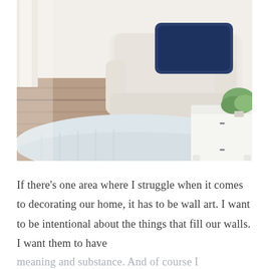[Figure (photo): Interior living room photo showing a white/cream armchair with a navy blue pillow, a white coffee table, white shaggy rug, hardwood floors, and green plant on the table. Bright, airy room with natural light.]
If there’s one area where I struggle when it comes to decorating our home, it has to be wall art. I want to be intentional about the things that fill our walls. I want them to have meaning and substance. And of course I want them to look pretty